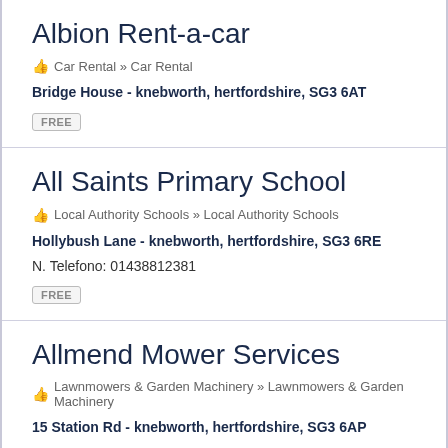Albion Rent-a-car
Car Rental » Car Rental
Bridge House - knebworth, hertfordshire, SG3 6AT
FREE
All Saints Primary School
Local Authority Schools » Local Authority Schools
Hollybush Lane - knebworth, hertfordshire, SG3 6RE
N. Telefono: 01438812381
FREE
Allmend Mower Services
Lawnmowers & Garden Machinery » Lawnmowers & Garden Machinery
15 Station Rd - knebworth, hertfordshire, SG3 6AP